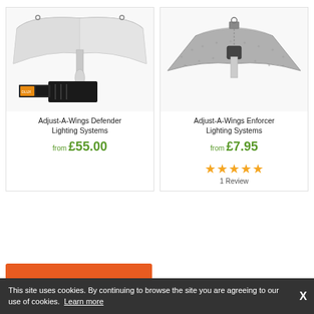[Figure (photo): Adjust-A-Wings Defender lighting system with reflector wings, ballast and lamp]
Adjust-A-Wings Defender Lighting Systems
from £55.00
[Figure (photo): Adjust-A-Wings Enforcer reflector hood in silver/grey hammered finish]
Adjust-A-Wings Enforcer Lighting Systems
from £7.95
1 Review
This site uses cookies. By continuing to browse the site you are agreeing to our use of cookies. Learn more